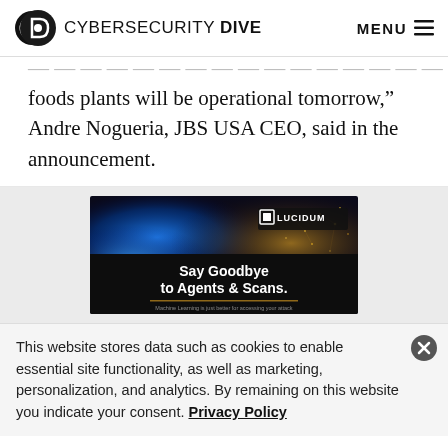CYBERSECURITY DIVE  MENU
foods plants will be operational tomorrow," Andre Nogueria, JBS USA CEO, said in the announcement.
[Figure (other): Lucidum advertisement banner: dark background with blue bokeh and gold particle network imagery. Text reads 'Say Goodbye to Agents & Scans.' with Lucidum logo and tagline 'Machine Learning is just better for accessing your attack']
This website stores data such as cookies to enable essential site functionality, as well as marketing, personalization, and analytics. By remaining on this website you indicate your consent. Privacy Policy